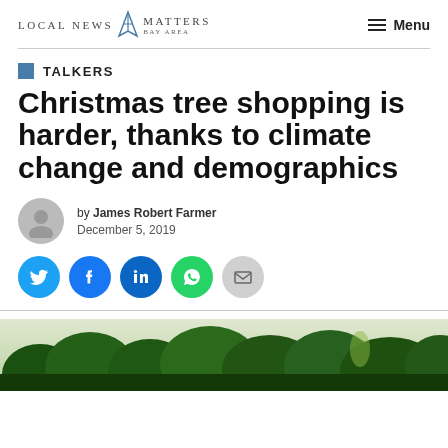Local News Matters Bay Area — Menu
TALKERS
Christmas tree shopping is harder, thanks to climate change and demographics
by James Robert Farmer
December 5, 2019
[Figure (other): Social share buttons: Twitter, Facebook, LinkedIn, WhatsApp, Email]
[Figure (photo): Outdoor photo showing green tree canopy and forest landscape]